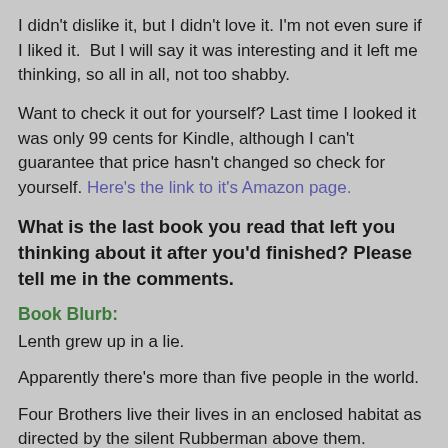I didn't dislike it, but I didn't love it. I'm not even sure if I liked it.  But I will say it was interesting and it left me thinking, so all in all, not too shabby.
Want to check it out for yourself? Last time I looked it was only 99 cents for Kindle, although I can't guarantee that price hasn't changed so check for yourself. Here's the link to it's Amazon page.
What is the last book you read that left you thinking about it after you'd finished? Please tell me in the comments.
Book Blurb:
Lenth grew up in a lie.
Apparently there's more than five people in the world.
Four Brothers live their lives in an enclosed habitat as directed by the silent Rubberman above them.